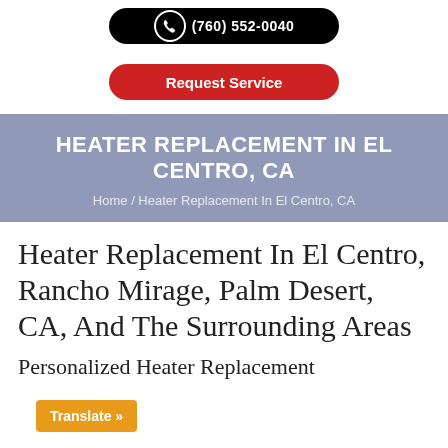(760) 552-0040
[Figure (other): Red rounded button with text 'Request Service']
HEATER REPLACEMENT IN EL CENTRO, CA
Home / Heater Replacement In El Centro, CA
Heater Replacement In El Centro, Rancho Mirage, Palm Desert, CA, And The Surrounding Areas
Personalized Heater Replacement